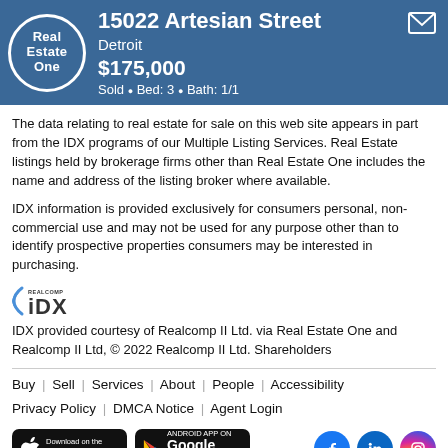15022 Artesian Street, Detroit, $175,000, Sold • Bed: 3 • Bath: 1/1
The data relating to real estate for sale on this web site appears in part from the IDX programs of our Multiple Listing Services. Real Estate listings held by brokerage firms other than Real Estate One includes the name and address of the listing broker where available.
IDX information is provided exclusively for consumers personal, non-commercial use and may not be used for any purpose other than to identify prospective properties consumers may be interested in purchasing.
[Figure (logo): Realcomp IDX logo]
IDX provided courtesy of Realcomp II Ltd. via Real Estate One and Realcomp II Ltd, © 2022 Realcomp II Ltd. Shareholders
Buy | Sell | Services | About | People | Accessibility
Privacy Policy | DMCA Notice | Agent Login